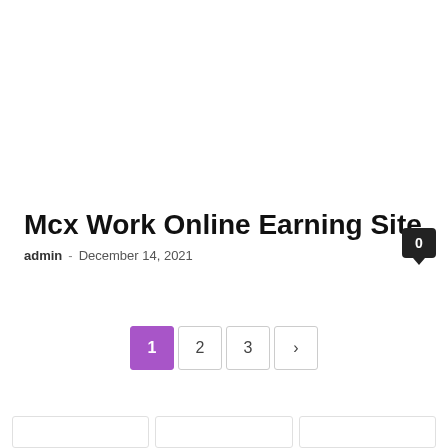Mcx Work Online Earning Site
admin - December 14, 2021
0
1 2 3 ›